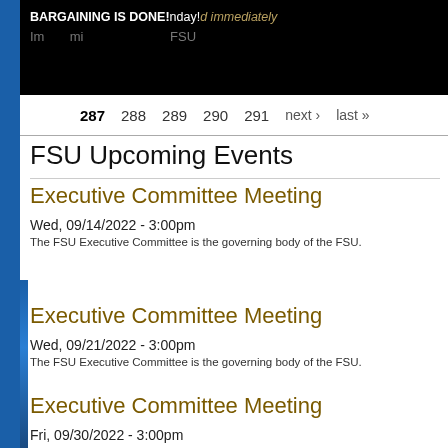[Figure (screenshot): Black banner at top with bold text 'BARGAINING IS DONE!' and surrounding text in white and gold italic partially visible]
287  288  289  290  291  next › last »
FSU Upcoming Events
Executive Committee Meeting
Wed, 09/14/2022 - 3:00pm
The FSU Executive Committee is the governing body of the FSU.
Executive Committee Meeting
Wed, 09/21/2022 - 3:00pm
The FSU Executive Committee is the governing body of the FSU.
Executive Committee Meeting
Fri, 09/30/2022 - 3:00pm